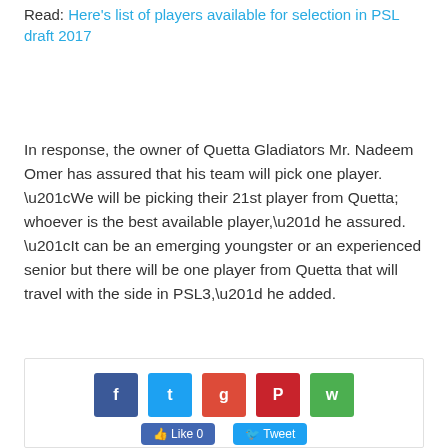Read: Here's list of players available for selection in PSL draft 2017
In response, the owner of Quetta Gladiators Mr. Nadeem Omer has assured that his team will pick one player. “We will be picking their 21st player from Quetta; whoever is the best available player,” he assured. “It can be an emerging youngster or an experienced senior but there will be one player from Quetta that will travel with the side in PSL3,” he added.
[Figure (other): Social media sharing icons: Facebook, Twitter, Google+, Pinterest, WhatsApp buttons, followed by Like and Tweet buttons]